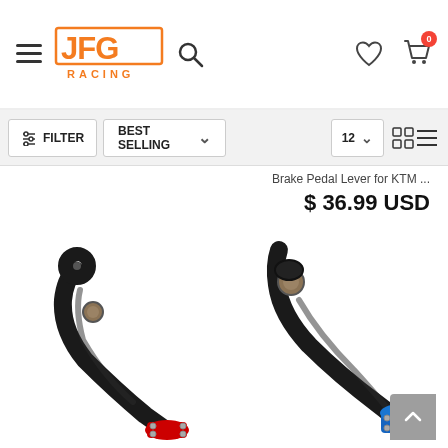[Figure (logo): JFG Racing logo with orange stylized letters and search icon]
FILTER
BEST SELLING
12
Brake Pedal Lever for KTM ...
$ 36.99 USD
[Figure (photo): Black motorcycle brake pedal lever with red tip/end piece]
[Figure (photo): Black motorcycle brake pedal lever with blue tip/end piece]